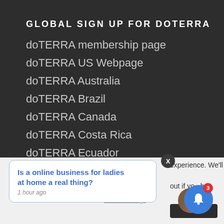GLOBAL SIGN UP FOR DOTERRA
doTERRA membership page
doTERRA US Webpage
doTERRA Australia
doTERRA Brazil
doTERRA Canada
doTERRA Costa Rica
doTERRA Ecuador
doTERRA Europe
[Figure (screenshot): Notification popup with text 'Is a online business for ladies at home a real thing?' posted 1 hour ago, with an X close button, partial background text about experience, a cookie settings link, and a blue bell notification icon with badge showing 3]
Is a online business for ladies at home a real thing?
1 hour ago